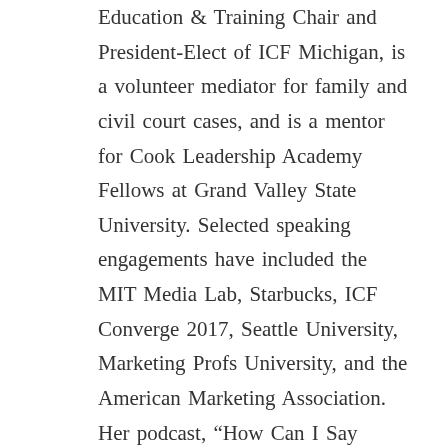Education & Training Chair and President-Elect of ICF Michigan, is a volunteer mediator for family and civil court cases, and is a mentor for Cook Leadership Academy Fellows at Grand Valley State University. Selected speaking engagements have included the MIT Media Lab, Starbucks, ICF Converge 2017, Seattle University, Marketing Profs University, and the American Marketing Association. Her podcast, “How Can I Say This…”, has reached listeners in more than 75 countries since it launched in August 2018. Beth is the author of The Introvert Entrepreneur: Amplify Your Strengths and Create Success on